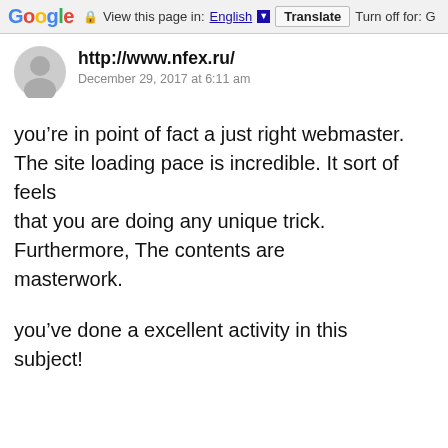Google  View this page in: English ▼  Translate  Turn off for: G
http://www.nfex.ru/
December 29, 2017 at 6:11 am
you’re in point of fact a just right webmaster. The site loading pace is incredible. It sort of feels that you are doing any unique trick. Furthermore, The contents are masterwork.
you’ve done a excellent activity in this subject!